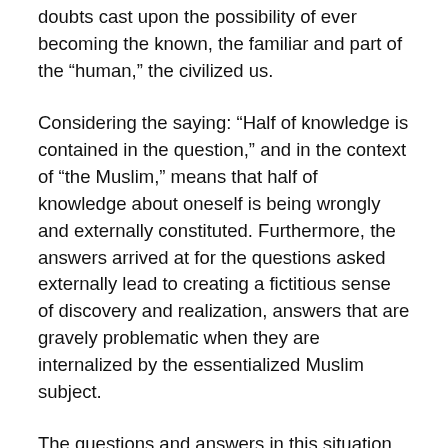doubts cast upon the possibility of ever becoming the known, the familiar and part of the “human,” the civilized us.
Considering the saying: “Half of knowledge is contained in the question,” and in the context of “the Muslim,” means that half of knowledge about oneself is being wrongly and externally constituted. Furthermore, the answers arrived at for the questions asked externally lead to creating a fictitious sense of discovery and realization, answers that are gravely problematic when they are internalized by the essentialized Muslim subject.
The questions and answers in this situation are akin to the prisoner-torturer relationship whereby the prison imposes the epistemic structure and the dialogue is shaped by the contours of power embedded in it. Assuredly, the torturer is seeking answers to his –